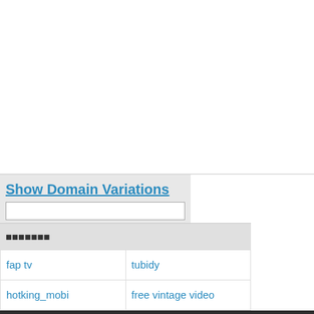[Figure (other): Large white blank area, likely an advertisement space]
Show Domain Variations
fap tv
tubidy
hotking_mobi
free vintage video
vintagetube
vintage tube free
vintage confections
vintage tube mobil
sexasianvds
www asian ml